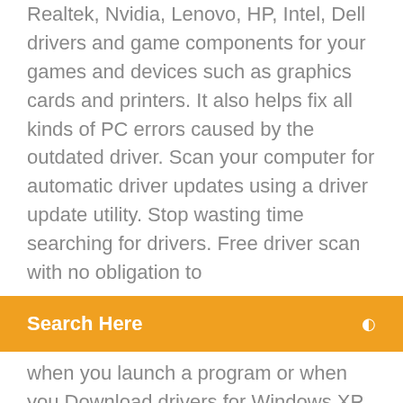Realtek, Nvidia, Lenovo, HP, Intel, Dell drivers and game components for your games and devices such as graphics cards and printers. It also helps fix all kinds of PC errors caused by the outdated driver. Scan your computer for automatic driver updates using a driver update utility. Stop wasting time searching for drivers. Free driver scan with no obligation to
[Figure (other): Orange search bar with 'Search Here' label and search icon on right]
when you launch a program or when you Download drivers for Windows XP, 7, 8, 8.1 and 10. Bluetooth Driver Installer, free and safe download. Bluetooth Driver Installer latest version: Resolve Bluetooth issues. Bluetooth Driver Installer is a program for your PC that attempts to identify and resolve any iss.
Free driver updater programs help you find and update the drivers on your computer. or all of the device drivers installed in Windows for your computer's hardware. When new updates appear, download them from inside the Driver Booster  12 Dec